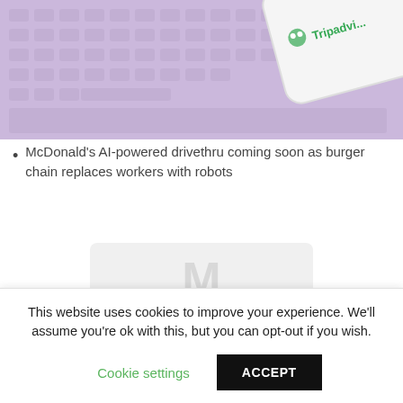[Figure (photo): A smartphone showing the TripAdvisor app logo resting on a laptop keyboard, with a purple/lavender tinted background.]
McDonald's AI-powered drivethru coming soon as burger chain replaces workers with robots
[Figure (photo): A partially visible faded/ghosted image placeholder in the middle of the page.]
It's important to remember that, while some TripAdvisor
This website uses cookies to improve your experience. We'll assume you're ok with this, but you can opt-out if you wish.
Cookie settings
ACCEPT